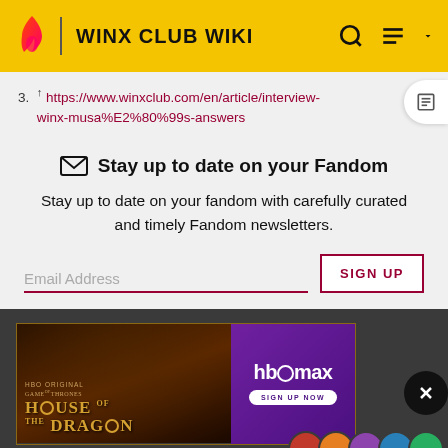WINX CLUB WIKI
3. ↑ https://www.winxclub.com/en/article/interview-winx-musa%E2%80%99s-answers
✉ Stay up to date on your Fandom
Stay up to date on your fandom with carefully curated and timely Fandom newsletters.
Email Address
SIGN UP
[Figure (screenshot): Advertisement banner for House of the Dragon on HBO Max with dark fantasy imagery and dragon motifs]
Top Contributors